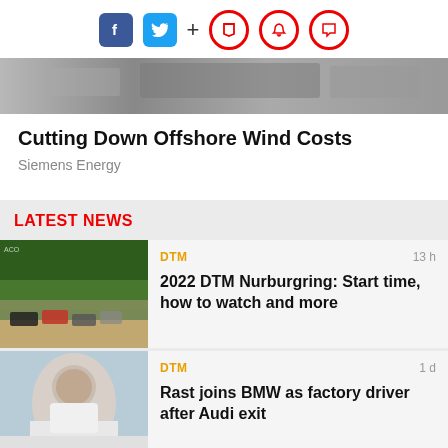Social icons: Facebook, Twitter, +, Bookmark, Bell, Comment
[Figure (photo): Racing track hero image strip, partially visible, showing dark track surface and barriers]
Cutting Down Offshore Wind Costs
Siemens Energy
LATEST NEWS
[Figure (photo): DTM racing cars on track, green trees in background, multiple cars in formation]
DTM
13 h
2022 DTM Nurburgring: Start time, how to watch and more
[Figure (photo): Portrait of a man in white shirt, close-up face shot, pit lane background]
DTM
1 d
Rast joins BMW as factory driver after Audi exit